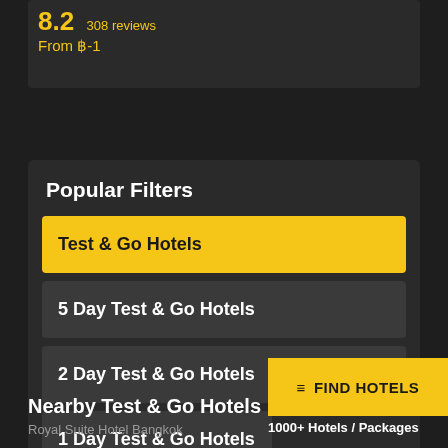8.2  308 reviews
From ฿-1
Popular Filters
Test & Go Hotels
5 Day Test & Go Hotels
2 Day Test & Go Hotels
1 Day Test & Go Hotels
≡ FIND HOTELS
1000+ Hotels / Packages
Nearby Test & Go Hotels
Royal Suite Hotel Bangkok